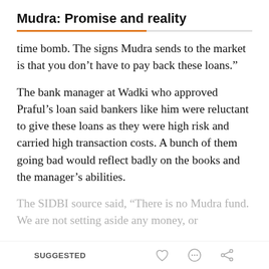Mudra: Promise and reality
time bomb. The signs Mudra sends to the market is that you don’t have to pay back these loans.”
The bank manager at Wadki who approved Praful’s loan said bankers like him were reluctant to give these loans as they were high risk and carried high transaction costs. A bunch of them going bad would reflect badly on the books and the manager’s abilities.
The SIDBI source said, “There is no Mudra fund. We are not setting aside any money, or